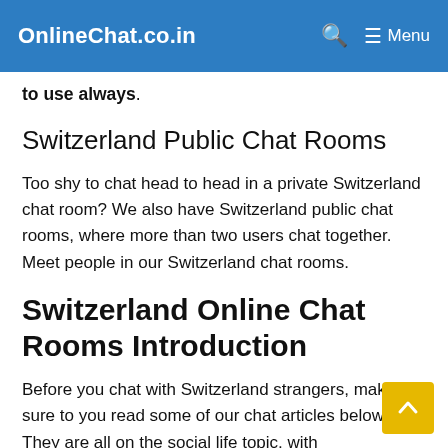OnlineChat.co.in  🔍  ☰ Menu
to use always.
Switzerland Public Chat Rooms
Too shy to chat head to head in a private Switzerland chat room? We also have Switzerland public chat rooms, where more than two users chat together. Meet people in our Switzerland chat rooms.
Switzerland Online Chat Rooms Introduction
Before you chat with Switzerland strangers, make sure to you read some of our chat articles below. They are all on the social life topic, with